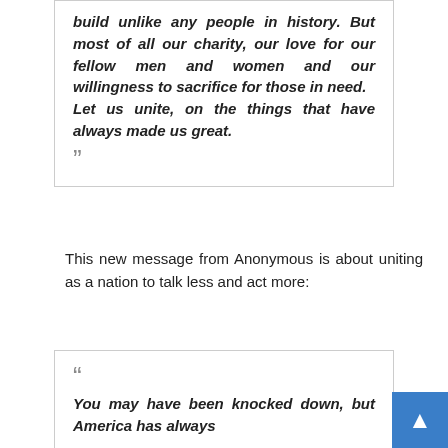build unlike any people in history. But most of all our charity, our love for our fellow men and women and our willingness to sacrifice for those in need.
Let us unite, on the things that have always made us great.
"
This new message from Anonymous is about uniting as a nation to talk less and act more:
"
You may have been knocked down, but America has always